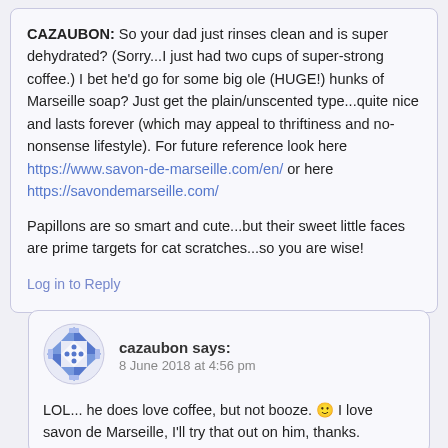CAZAUBON: So your dad just rinses clean and is super dehydrated? (Sorry...I just had two cups of super-strong coffee.) I bet he'd go for some big ole (HUGE!) hunks of Marseille soap? Just get the plain/unscented type...quite nice and lasts forever (which may appeal to thriftiness and no-nonsense lifestyle). For future reference look here https://www.savon-de-marseille.com/en/ or here https://savondemarseille.com/
Papillons are so smart and cute...but their sweet little faces are prime targets for cat scratches...so you are wise!
Log in to Reply
[Figure (illustration): Blue and white geometric avatar icon for user cazaubon]
cazaubon says: 8 June 2018 at 4:56 pm
LOL... he does love coffee, but not booze. 🙂 I love savon de Marseille, I'll try that out on him, thanks.